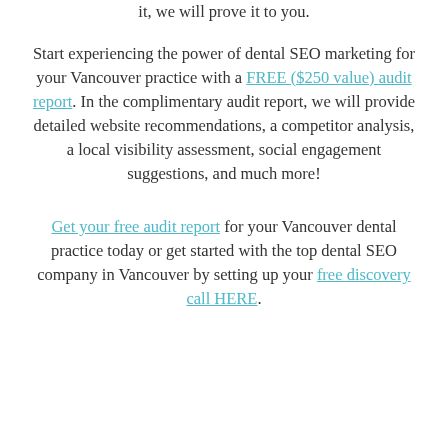it, we will prove it to you.
Start experiencing the power of dental SEO marketing for your Vancouver practice with a FREE ($250 value) audit report. In the complimentary audit report, we will provide detailed website recommendations, a competitor analysis, a local visibility assessment, social engagement suggestions, and much more!
Get your free audit report for your Vancouver dental practice today or get started with the top dental SEO company in Vancouver by setting up your free discovery call HERE.